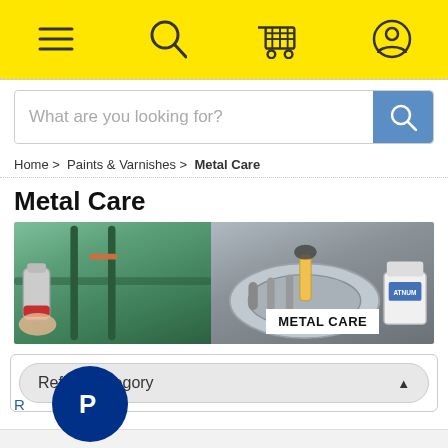Navigation bar with menu, search, cart, and user icons
What are you looking for?
Home > Paints & Varnishes > Metal Care
Metal Care
[Figure (photo): Two-panel banner: left shows a hand spray-painting a dark metal gate; right shows a worker in gloves using a tool on a metal car part with a paint can labeled PLATINUM nearby. White label reads METAL CARE.]
Refine Category ▲
[Figure (logo): Blue circle PayPal logo]
Rust Remover